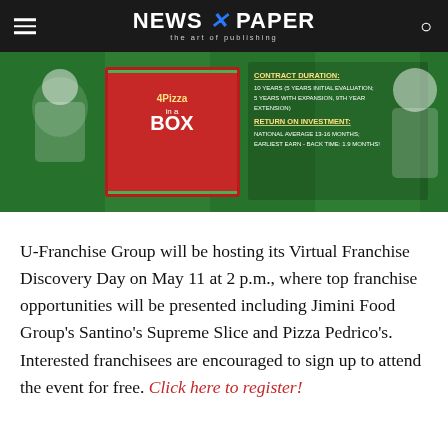NEWS X PAPER — the art of publishing
[Figure (illustration): Banner image showing a 4 Pizza in a Box kiosk with cartoon chef characters on green background, with contract duration and return on investment info text overlay]
U-Franchise Group will be hosting its Virtual Franchise Discovery Day on May 11 at 2 p.m., where top franchise opportunities will be presented including Jimini Food Group's Santino's Supreme Slice and Pizza Pedrico's. Interested franchisees are encouraged to sign up to attend the event for free. Click here to register!